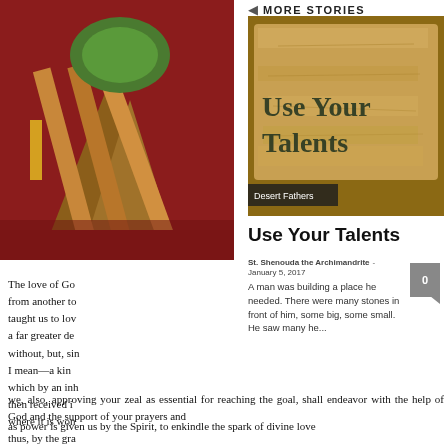MORE STORIES
[Figure (illustration): Abstract colorful artwork thumbnail on left side]
[Figure (illustration): Use Your Talents - parchment-style image with the title text and Desert Fathers tag]
Use Your Talents
St. Shenouda the Archimandrite  -  January 5, 2017
A man was building a place he needed. There were many stones in front of him, some big, some small. He saw many he...
The love of Go… from another to… taught us to lov… a far greater de… without, but, sin… I mean—a kin… which by an inh… then received i… where it is won… thus, by the gra…
we, also, approving your zeal as essential for reaching the goal, shall endeavor with the help of God and the support of your prayers and
as power is given us by the Spirit, to enkindle the spark of divine love